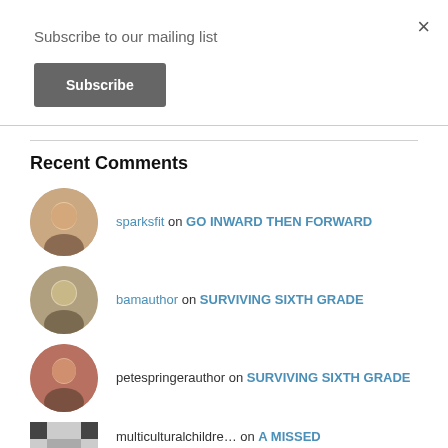×
Subscribe to our mailing list
Subscribe
Recent Comments
sparksfit on GO INWARD THEN FORWARD
bamauthor on SURVIVING SIXTH GRADE
petespringerauthor on SURVIVING SIXTH GRADE
multiculturalchildre… on A MISSED OPPORTUNITY? #READYOU…
… on MORE THAN MEETS THE EYE…